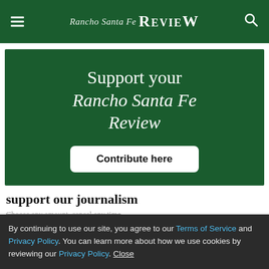Rancho Santa Fe Review
[Figure (infographic): Green promotional box with text 'Support your Rancho Santa Fe Review' and a 'Contribute here' button]
support our journalism
Choose any amount, cancel any time
April 27, 2021
By continuing to use our site, you agree to our Terms of Service and Privacy Policy. You can learn more about how we use cookies by reviewing our Privacy Policy. Close